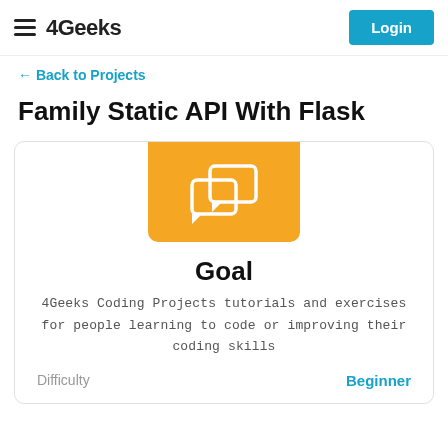4Geeks  Login
← Back to Projects
Family Static API With Flask
[Figure (illustration): Yellow rounded rectangle card icon with two white speech/chat bubble icons overlapping]
Goal
4Geeks Coding Projects tutorials and exercises for people learning to code or improving their coding skills
Difficulty  Beginner